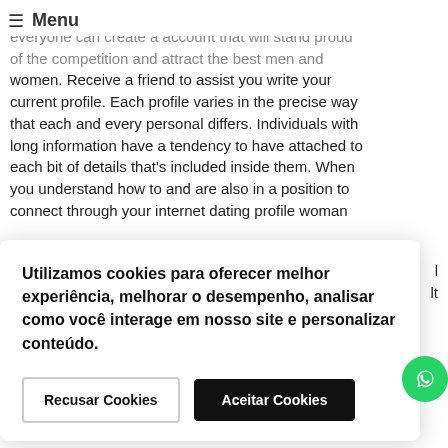≡ Menu
with a little bit of hard work and even training, everyone can create a account that will stand proud of the competition and attract the best men and women. Receive a friend to assist you write your current profile. Each profile varies in the precise way that each and every personal differs. Individuals with long information have a tendency to have attached to each bit of details that's included inside them. When you understand how to and are also in a position to connect through your internet dating profile woman
Utilizamos cookies para oferecer melhor experiência, melhorar o desempenho, analisar como você interage em nosso site e personalizar conteúdo.
A whole lot of how you can dating implies trying